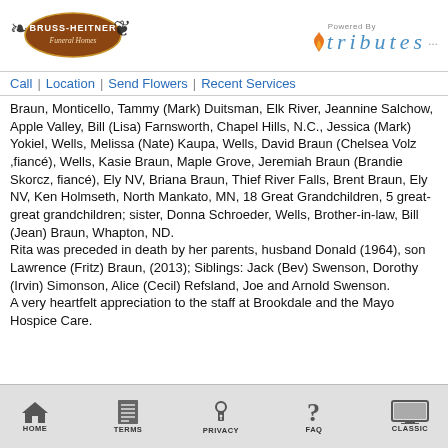[Figure (logo): Bruss-Heitner Funeral Homes oval logo with decorative flourishes]
[Figure (logo): Powered By tributes logo with flame icon]
Call | Location | Send Flowers | Recent Services
Braun, Monticello, Tammy (Mark) Duitsman, Elk River, Jeannine Salchow, Apple Valley, Bill (Lisa) Farnsworth, Chapel Hills, N.C., Jessica (Mark) Yokiel, Wells, Melissa (Nate) Kaupa, Wells, David Braun (Chelsea Volz ,fiancé), Wells, Kasie Braun, Maple Grove, Jeremiah Braun (Brandie Skorcz, fiancé), Ely NV, Briana Braun, Thief River Falls, Brent Braun, Ely NV, Ken Holmseth, North Mankato, MN, 18 Great Grandchildren, 5 great-great grandchildren; sister, Donna Schroeder, Wells, Brother-in-law, Bill (Jean) Braun, Whapton, ND.
Rita was preceded in death by her parents, husband Donald (1964), son Lawrence (Fritz) Braun, (2013); Siblings: Jack (Bev) Swenson, Dorothy (Irvin) Simonson, Alice (Cecil) Refsland, Joe and Arnold Swenson.
A very heartfelt appreciation to the staff at Brookdale and the Mayo Hospice Care.
HOME | TERMS | PRIVACY | FAQ | CLASSIC